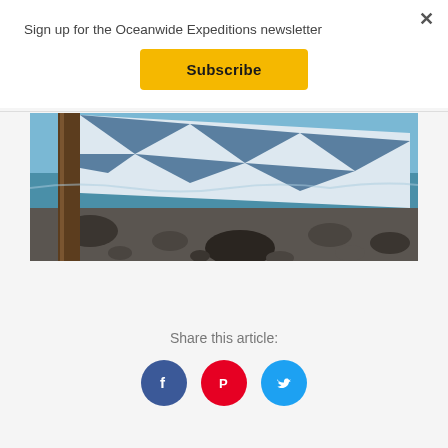Sign up for the Oceanwide Expeditions newsletter
Subscribe
[Figure (photo): A blue and white checkered flag waving on a rocky beach coastline, with a wooden post on the left and ocean waves in the background.]
Share this article:
[Figure (infographic): Three social media share buttons: Facebook (blue circle with f), Pinterest (red circle with P logo), Twitter (cyan circle with bird logo)]